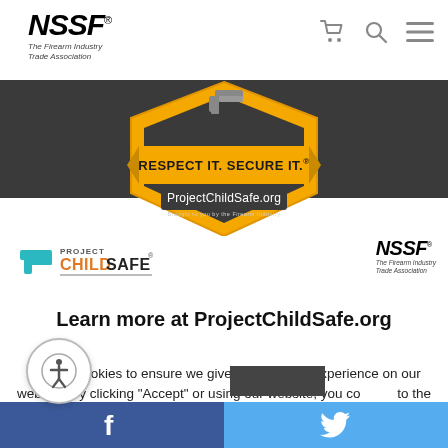[Figure (logo): NSSF - The Firearm Industry Trade Association logo in top left]
[Figure (screenshot): Navigation icons: shopping cart, search, hamburger menu on top right]
[Figure (infographic): Banner with dark background showing ProjectChildSafe.org shield badge with text RESPECT IT. SECURE IT. and logos for Project ChildSafe and NSSF]
Learn more at ProjectChildSafe.org
We use cookies to ensure we give you the best experience on our website. By clicking "Accept" or using our website, you consent to the use of cookies unless you have disabled them.
[Figure (other): Accessibility icon circle button]
[Figure (other): Accept button (dark rectangle)]
[Figure (other): Bottom social bar with Facebook (blue) and Twitter (light blue) icons]